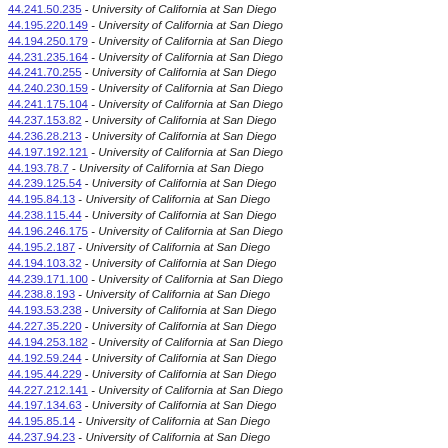44.241.50.235 - University of California at San Diego
44.195.220.149 - University of California at San Diego
44.194.250.179 - University of California at San Diego
44.231.235.164 - University of California at San Diego
44.241.70.255 - University of California at San Diego
44.240.230.159 - University of California at San Diego
44.241.175.104 - University of California at San Diego
44.237.153.82 - University of California at San Diego
44.236.28.213 - University of California at San Diego
44.197.192.121 - University of California at San Diego
44.193.78.7 - University of California at San Diego
44.239.125.54 - University of California at San Diego
44.195.84.13 - University of California at San Diego
44.238.115.44 - University of California at San Diego
44.196.246.175 - University of California at San Diego
44.195.2.187 - University of California at San Diego
44.194.103.32 - University of California at San Diego
44.239.171.100 - University of California at San Diego
44.238.8.193 - University of California at San Diego
44.193.53.238 - University of California at San Diego
44.227.35.220 - University of California at San Diego
44.194.253.182 - University of California at San Diego
44.192.59.244 - University of California at San Diego
44.195.44.229 - University of California at San Diego
44.227.212.141 - University of California at San Diego
44.197.134.63 - University of California at San Diego
44.195.85.14 - University of California at San Diego
44.237.94.23 - University of California at San Diego
44.194.45.230 - University of California at San Diego
44.195.23.208 - University of California at San Diego